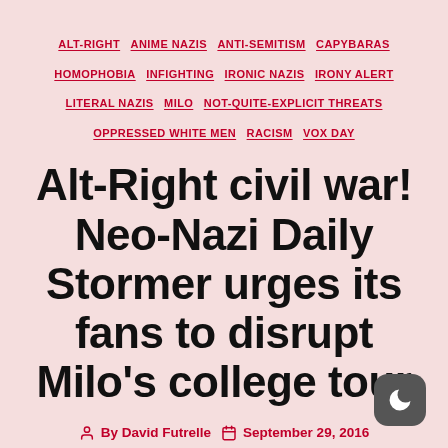ALT-RIGHT  ANIME NAZIS  ANTI-SEMITISM  CAPYBARAS  HOMOPHOBIA  INFIGHTING  IRONIC NAZIS  IRONY ALERT  LITERAL NAZIS  MILO  NOT-QUITE-EXPLICIT THREATS  OPPRESSED WHITE MEN  RACISM  VOX DAY
Alt-Right civil war! Neo-Nazi Daily Stormer urges its fans to disrupt Milo's college tour
By David Futrelle   September 29, 2016   99 Comments